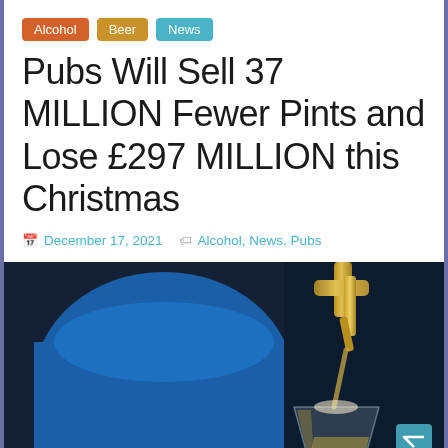Alcohol | Beer | News
Pubs Will Sell 37 MILLION Fewer Pints and Lose £297 MILLION this Christmas
December 17, 2021  Alcohol, News, Pubs
[Figure (photo): A bartender in a blue shirt pouring beer from a golden tap into a glass, dark pub background]